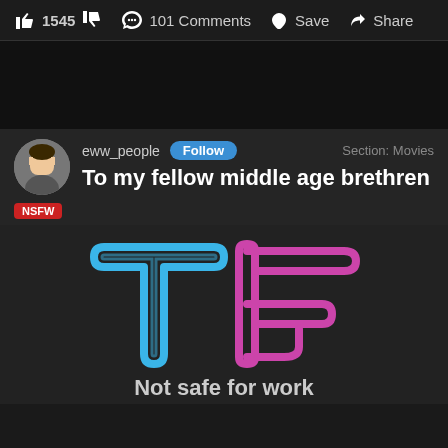👍 1545 👎   💬 101 Comments   ♥ Save   ➤ Share
[Figure (screenshot): Dark black section separator area]
eww_people  Follow  Section: Movies
To my fellow middle age brethren
NSFW
[Figure (logo): TF logo in blue and pink neon tube style letters on dark background]
Not safe for work